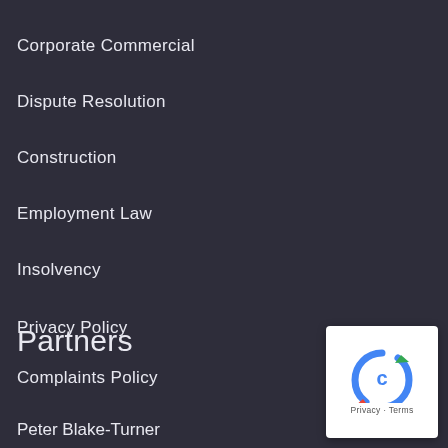Corporate Commercial
Dispute Resolution
Construction
Employment Law
Insolvency
Privacy Policy
Complaints Policy
Partners
Peter Blake-Turner
[Figure (other): reCAPTCHA privacy badge with circular arrow logo and 'Privacy - Terms' text]